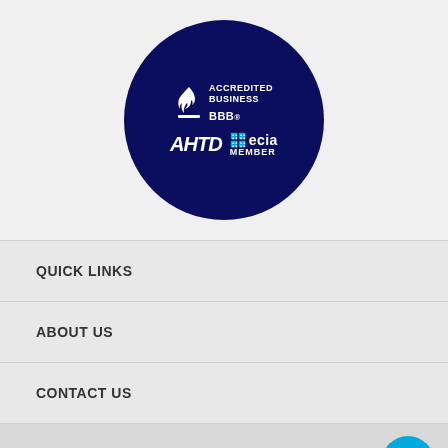[Figure (logo): Dark navy blue circular badge containing BBB Accredited Business logo (top), AHTD logo (bottom left) and ECIA Member logo (bottom right)]
QUICK LINKS
ABOUT US
CONTACT US
WALKER INDUSTRIAL